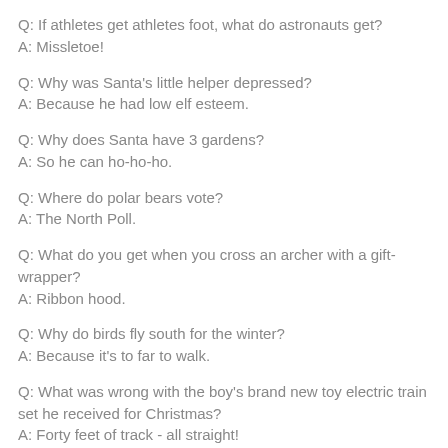Q: If athletes get athletes foot, what do astronauts get?
A: Missletoe!
Q: Why was Santa's little helper depressed?
A: Because he had low elf esteem.
Q: Why does Santa have 3 gardens?
A: So he can ho-ho-ho.
Q: Where do polar bears vote?
A: The North Poll.
Q: What do you get when you cross an archer with a gift-wrapper?
A: Ribbon hood.
Q: Why do birds fly south for the winter?
A: Because it's to far to walk.
Q: What was wrong with the boy's brand new toy electric train set he received for Christmas?
A: Forty feet of track - all straight!